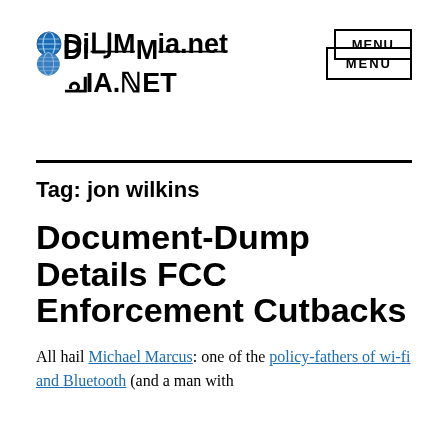DIGIMEDIA.NET  MENU
Tag: jon wilkins
Document-Dump Details FCC Enforcement Cutbacks
All hail Michael Marcus: one of the policy-fathers of wi-fi and Bluetooth (and a man with